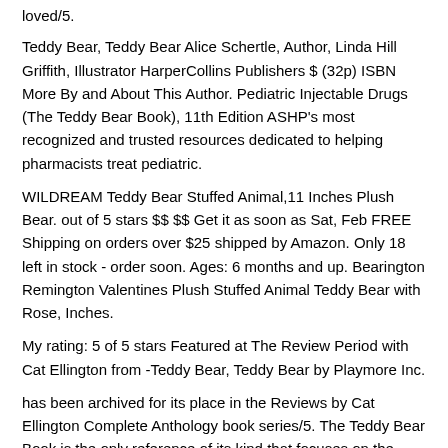loved/5.
Teddy Bear, Teddy Bear Alice Schertle, Author, Linda Hill Griffith, Illustrator HarperCollins Publishers $ (32p) ISBN More By and About This Author. Pediatric Injectable Drugs (The Teddy Bear Book), 11th Edition ASHP's most recognized and trusted resources dedicated to helping pharmacists treat pediatric.
WILDREAM Teddy Bear Stuffed Animal,11 Inches Plush Bear. out of 5 stars $$ $$ Get it as soon as Sat, Feb FREE Shipping on orders over $25 shipped by Amazon. Only 18 left in stock - order soon. Ages: 6 months and up. Bearington Remington Valentines Plush Stuffed Animal Teddy Bear with Rose, Inches.
My rating: 5 of 5 stars Featured at The Review Period with Cat Ellington from -Teddy Bear, Teddy Bear by Playmore Inc.
has been archived for its place in the Reviews by Cat Ellington Complete Anthology book series/5. The Teddy Bear Book is the only reference of its kind that focuses on the unique issues that healthcare professionals face when using injectable medications in children, such